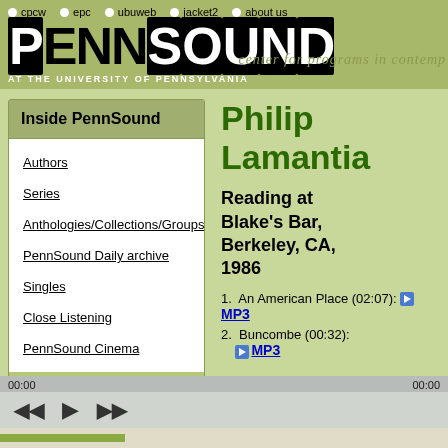PennSound — center for programs in contemporary writing — AT THE UNIVERSITY OF PENNSYLVANIA
Inside PennSound
Authors
Series
Anthologies/Collections/Groups
PennSound Daily archive
Singles
Close Listening
PennSound Cinema
Philip Lamantia
Reading at Blake's Bar, Berkeley, CA, 1986
1. An American Place (02:07): MP3
2. Buncombe (00:32): MP3